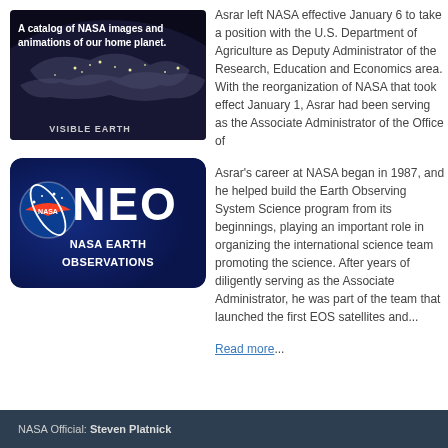[Figure (photo): Visible Earth banner: dark background with satellite image of Earth's surface and text 'A catalog of NASA images and animations of our home planet.' and 'VISIBLE EARTH']
[Figure (logo): NASA Earth Observations (NEO) banner with NASA logo, large text 'NEO', and 'NASA EARTH OBSERVATIONS' on dark blue background]
Asrar left NASA effective January 6 to take a position with the U.S. Department of Agriculture as Deputy Administrator of the Research, Education and Economics area. With the reorganization of NASA that took effect January 1, Asrar had been serving as the Associate Administrator of the Office of
Asrar's career at NASA began in 1987, and he helped build the Earth Observing System Science program from its beginnings, playing an important role in organizing the international science team promoting the science. After years of diligently serving as the Associate Administrator, he was part of the team that launched the first EOS satellites and...
Read more...
NASA Official: Steven Platnick